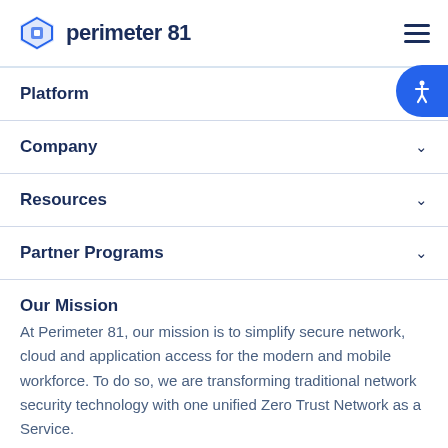perimeter 81
Platform
Company
Resources
Partner Programs
Our Mission
At Perimeter 81, our mission is to simplify secure network, cloud and application access for the modern and mobile workforce. To do so, we are transforming traditional network security technology with one unified Zero Trust Network as a Service.